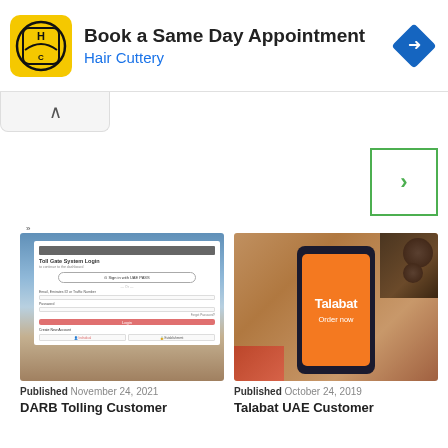[Figure (screenshot): Advertisement banner for Hair Cuttery: 'Book a Same Day Appointment' with yellow HC logo and blue navigation diamond icon]
[Figure (screenshot): Collapse chevron button and right navigation arrow (green border)]
[Figure (screenshot): DARB Tolling Customer portal login screenshot showing Toll Gate System Login page with UAE PASS sign-in button]
Published November 24, 2021
DARB Tolling Customer
[Figure (photo): Talabat app shown on a smartphone with orange screen displaying 'Talabat Order now', hand holding phone with food in background]
Published October 24, 2019
Talabat UAE Customer